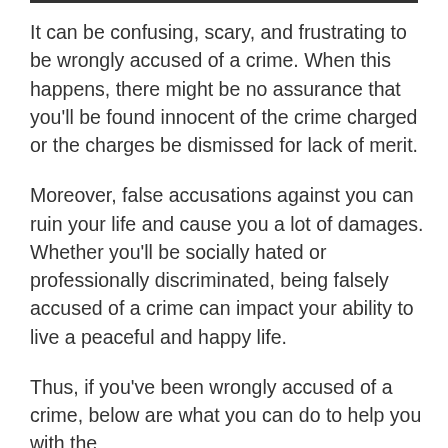It can be confusing, scary, and frustrating to be wrongly accused of a crime. When this happens, there might be no assurance that you'll be found innocent of the crime charged or the charges be dismissed for lack of merit.
Moreover, false accusations against you can ruin your life and cause you a lot of damages. Whether you'll be socially hated or professionally discriminated, being falsely accused of a crime can impact your ability to live a peaceful and happy life.
Thus, if you've been wrongly accused of a crime, below are what you can do to help you with the